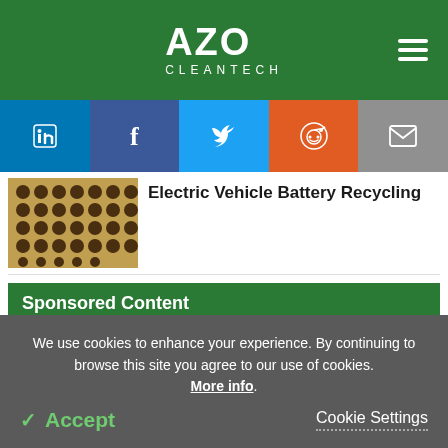AZO CLEANTECH
[Figure (screenshot): Social sharing buttons: LinkedIn, Facebook, Twitter, Reddit, Email]
[Figure (photo): Grid of electric vehicle battery cells on a yellow/brown background]
Electric Vehicle Battery Recycling
Sponsored Content
Radiation Measurements on the North Slope of Alaska
We use cookies to enhance your experience. By continuing to browse this site you agree to our use of cookies. More info.
✓ Accept   Cookie Settings